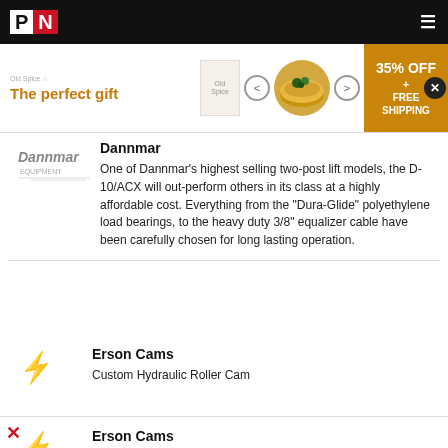PN (Performance & Motorsports Network) navigation bar
[Figure (infographic): Advertisement banner: 'The perfect gift' with food bowl image and '35% OFF + FREE SHIPPING' promo badge]
Dannmar
One of Dannmar's highest selling two-post lift models, the D-10/ACX will out-perform others in its class at a highly affordable cost. Everything from the "Dura-Glide" polyethylene load bearings, to the heavy duty 3/8" equalizer cable have been carefully chosen for long lasting operation.
Erson Cams
Custom Hydraulic Roller Cam
Erson Cams
SBC Professional Ultra-Series Mechanical Roller Lifters